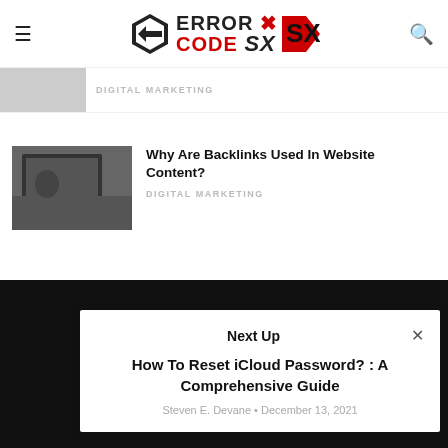Error Code SX — hamburger menu, logo, search icon
DIGITAL MARKETING
Why Are Backlinks Used In Website Content?
DIGITAL MARKETING
Next Up
How To Reset iCloud Password? : A Comprehensive Guide
Steven E. Devane • December 13, 2021